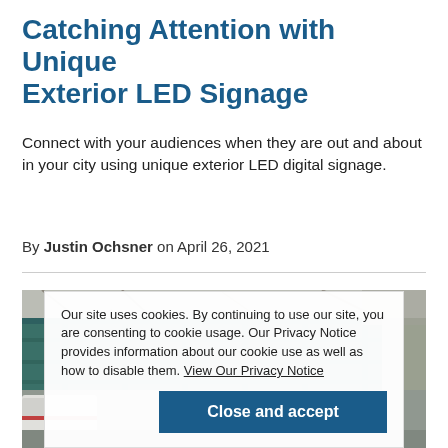Catching Attention with Unique Exterior LED Signage
Connect with your audiences when they are out and about in your city using unique exterior LED digital signage.
By Justin Ochsner on April 26, 2021
[Figure (photo): Outdoor photo showing a large metal structure or bridge, with a white vehicle visible in the lower left, and tree branches in the background]
Our site uses cookies. By continuing to use our site, you are consenting to cookie usage. Our Privacy Notice provides information about our cookie use as well as how to disable them. View Our Privacy Notice
Close and accept